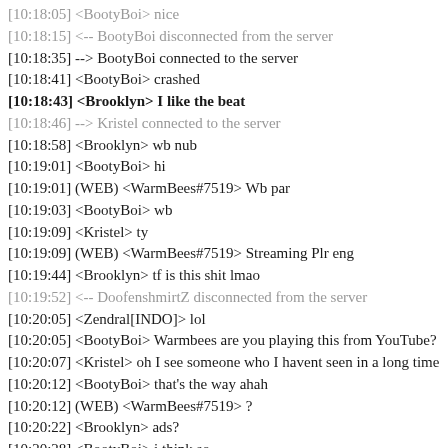[10:18:05] <BootyBoi> nice
[10:18:15] <-- BootyBoi disconnected from the server
[10:18:35] --> BootyBoi connected to the server
[10:18:41] <BootyBoi> crashed
[10:18:43] <Brooklyn> I like the beat
[10:18:46] --> Kristel connected to the server
[10:18:58] <Brooklyn> wb nub
[10:19:01] <BootyBoi> hi
[10:19:01] (WEB) <WarmBees#7519> Wb par
[10:19:03] <BootyBoi> wb
[10:19:09] <Kristel> ty
[10:19:09] (WEB) <WarmBees#7519> Streaming Plr eng
[10:19:44] <Brooklyn> tf is this shit lmao
[10:19:52] <-- DoofenshmirtZ disconnected from the server
[10:20:05] <Zendral[INDO]> lol
[10:20:05] <BootyBoi> Warmbees are you playing this from YouTube?
[10:20:07] <Kristel> oh I see someone who I havent seen in a long time
[10:20:12] <BootyBoi> that's the way ahah
[10:20:12] (WEB) <WarmBees#7519> ?
[10:20:22] <Brooklyn> ads?
[10:20:28] <BootyBoi> i think so
[10:20:38] <Zendral[INDO]> unskipable
[10:20:40] <Brooklyn> I think he's playing the music video